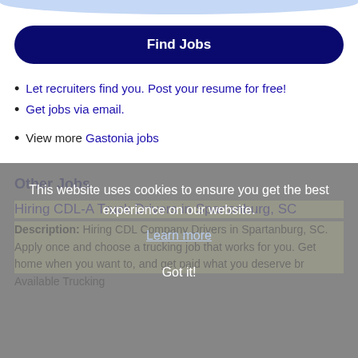[Figure (other): Light blue arc/bar at top of page, partial UI element]
Find Jobs
Let recruiters find you. Post your resume for free!
Get jobs via email.
View more Gastonia jobs
Other Jobs
This website uses cookies to ensure you get the best experience on our website.
Learn more
Got it!
Hiring CDL-A Truck Drivers in Spartanburg, SC
Description: Hiring CDL Company Drivers in Spartanburg, SC. Apply once and choose a trucking job that works for you. Get home when you want to, and get paid what you deserve br Available Trucking